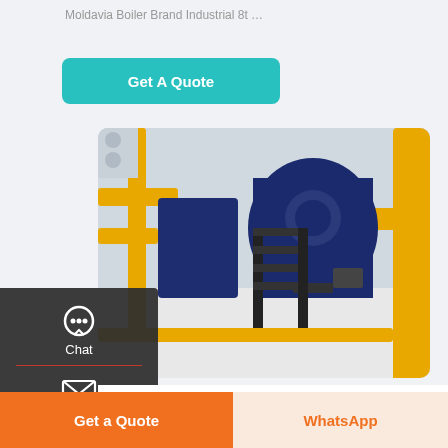Moldavia Boiler Brand Industrial 8t …
Get A Quote
[Figure (photo): Industrial boiler room with large blue gas-fired boilers, yellow pipework, black metal staircases, and white interior walls]
Industrial Cheap 10t Gas Fired Boiler Machine Uzbekistan
Get a Quote
WhatsApp